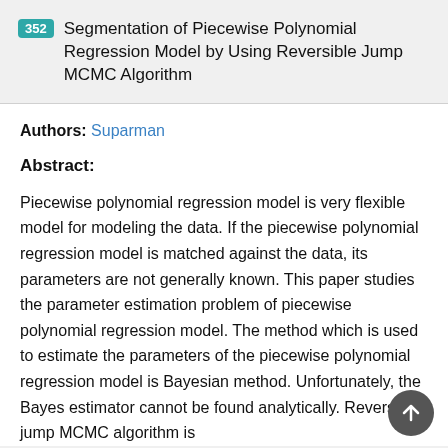352 Segmentation of Piecewise Polynomial Regression Model by Using Reversible Jump MCMC Algorithm
Authors: Suparman
Abstract:
Piecewise polynomial regression model is very flexible model for modeling the data. If the piecewise polynomial regression model is matched against the data, its parameters are not generally known. This paper studies the parameter estimation problem of piecewise polynomial regression model. The method which is used to estimate the parameters of the piecewise polynomial regression model is Bayesian method. Unfortunately, the Bayes estimator cannot be found analytically. Reversible jump MCMC algorithm is